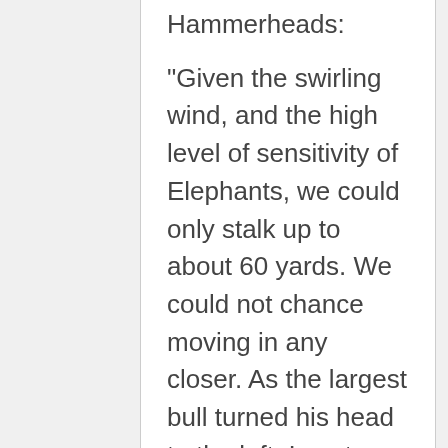Hammerheads:
“Given the swirling wind, and the high level of sensitivity of Elephants, we could only stalk up to about 60 yards. We could not chance moving in any closer. As the largest bull turned his head to the left, I sent a 540gr Hammerhead slamming into his left side temple followed immediately by a second shot to his rear spine as he fell to his right. The other 2 bulls